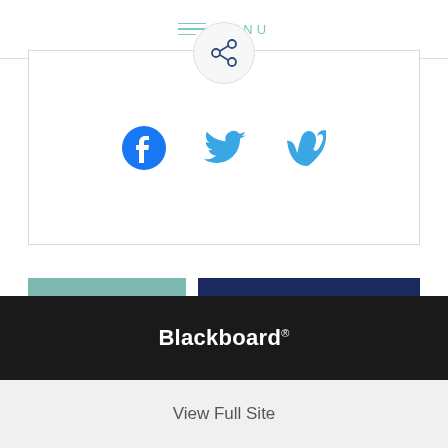MENU
[Figure (other): Share icon circle with social media icons: Facebook, Twitter, Vimeo]
SITE MAP
BACK TO TOP
Blackboard
View Full Site